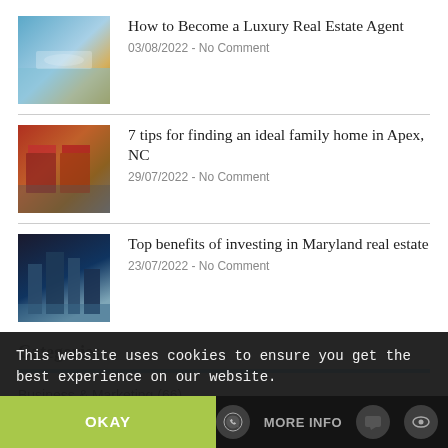[Figure (photo): Thumbnail image of a luxury pool/beach real estate]
How to Become a Luxury Real Estate Agent
03/08/2022 - No Comment
[Figure (photo): Thumbnail image of a storefront/market with red awnings]
7 tips for finding an ideal family home in Apex, NC
29/07/2022 - No Comment
[Figure (photo): Thumbnail image of a city skyline (Maryland/urban)]
Top benefits of investing in Maryland real estate
23/07/2022 - No Comment
Categories
Business & Marketing (66)
Eat & Cooking (24)
Family (75)
This website uses cookies to ensure you get the best experience on our website.